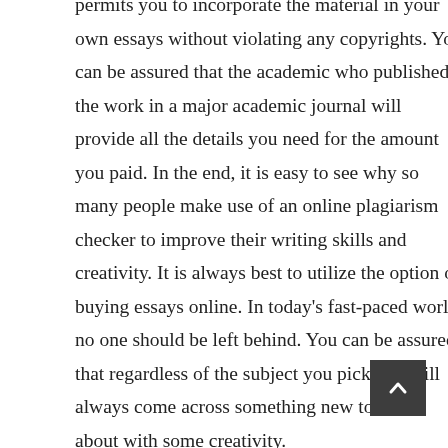permits you to incorporate the material in your own essays without violating any copyrights. You can be assured that the academic who published the work in a major academic journal will provide all the details you need for the amount you paid. In the end, it is easy to see why so many people make use of an online plagiarism checker to improve their writing skills and creativity. It is always best to utilize the option of buying essays online. In today's fast-paced world, no one should be left behind. You can be assured that regardless of the subject you pick you will always come across something new to write about with some creativity.